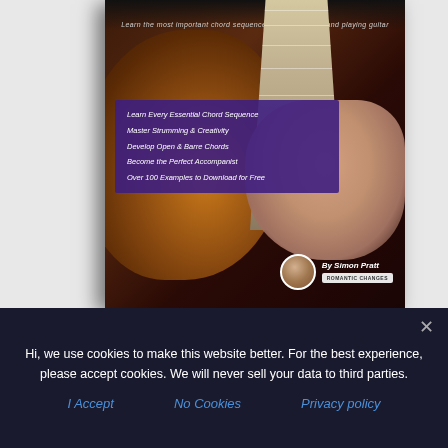[Figure (photo): Book cover for a guitar chord sequences book, showing a person's hand playing guitar with a purple overlay listing features: Learn Every Essential Chord Sequence, Master Strumming & Creativity, Develop Open & Barre Chords, Become the Perfect Accompanist, Over 100 Examples to Download for Free. By Simon Pratt, published by Romantic Changes.]
Hi, we use cookies to make this website better. For the best experience, please accept cookies. We will never sell your data to third parties.
I Accept
No Cookies
Privacy policy